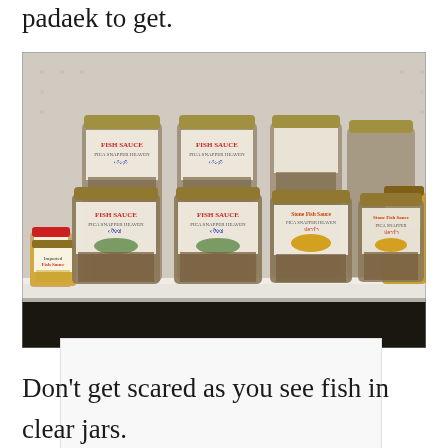padaek to get.
[Figure (photo): Shelf of glass jars containing fish sauce and preserved fish products with labels reading 'Fish Sauce' and 'Stone Fish Sauce', arranged on a white store shelf.]
Don't get scared as you see fish in clear jars.